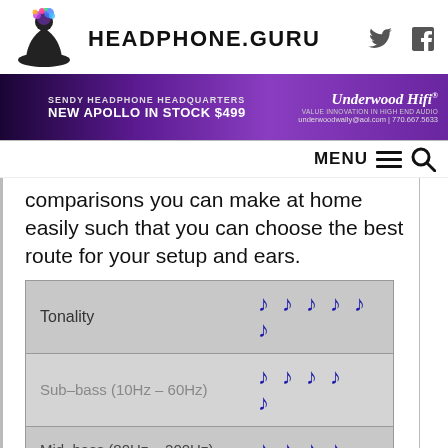[Figure (logo): Headphone.Guru website logo with meditating figure and colorful brain splash, with site name HEADPHONE.GURU in bold, and Twitter and Facebook social icons]
[Figure (infographic): Purple banner advertisement for Sendy Headphone Headquarters, New Apollo In Stock $499, Underwood Hifi, underwoodwally@aol.com | 770.667.5633]
comparisons you can make at home easily such that you can choose the best route for your setup and ears.
| Category | Rating |
| --- | --- |
| Tonality | 5 music notes |
| Sub-bass (10Hz – 60Hz) | 4.5 music notes |
| Mid-bass (80Hz – 200Hz) | music notes (partial) |